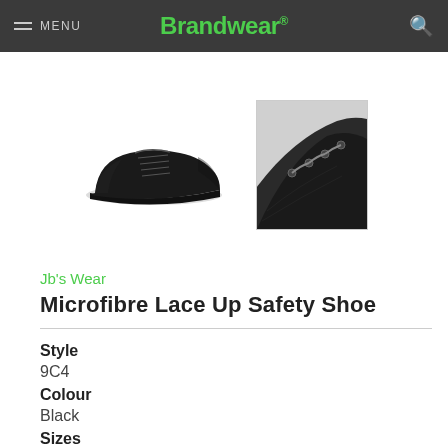MENU | Brandwear®
[Figure (photo): Two product images of a black microfibre lace up safety shoe — a full side view on the left and a close-up detail of the toe/lace area on the right]
Jb's Wear
Microfibre Lace Up Safety Shoe
Style
9C4
Colour
Black
Sizes